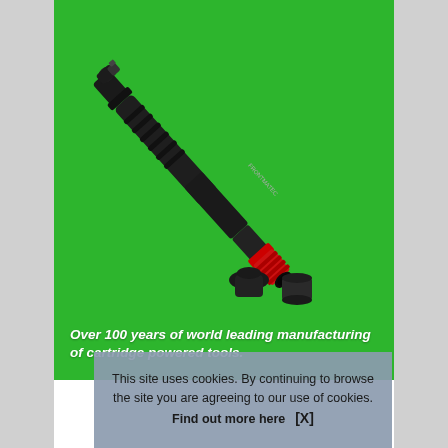[Figure (photo): A FRONTMATEC branded cartridge-powered tool (black body with red tip/nozzle) leaning diagonally on a green background, with two small black rubber/steel caps/accessories placed beside it.]
Over 100 years of world leading manufacturing of cartridge powered tools.
This site uses cookies. By continuing to browse the site you are agreeing to our use of cookies. Find out more here   [X]